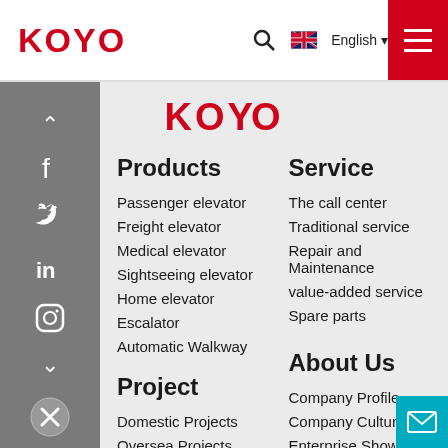KOYO
[Figure (logo): KOYO red logo centered in nav area]
[Figure (infographic): Gray social sidebar with up arrow, Facebook, Twitter, LinkedIn, Instagram, down arrow icons]
Products
Passenger elevator
Freight elevator
Medical elevator
Sightseeing elevator
Home elevator
Escalator
Automatic Walkway
Service
The call center
Traditional service
Repair and Maintenance
value-added service
Spare parts
Project
Domestic Projects
Oversea Projects
About Us
Company Profile
Company Culture
Enterprise Show
Company History